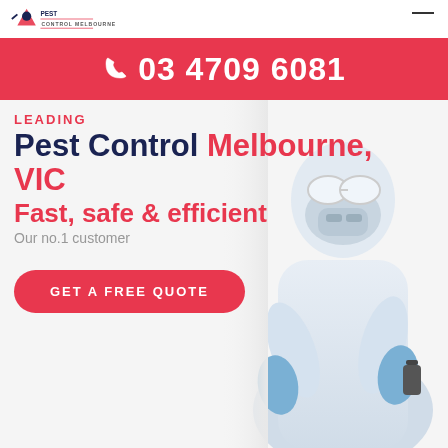Pest Control Melbourne (logo) — CONTROL MELBOURNE
📞 03 4709 6081
LEADING
Pest Control Melbourne, VIC
Fast, safe & efficient
Our no.1 customer
[Figure (photo): Person in white hazmat suit, safety goggles, and blue gloves standing with arms crossed, wearing respiratory mask. Pest control worker.]
GET A FREE QUOTE